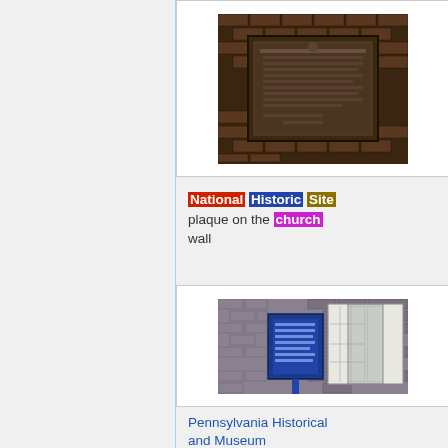[Figure (photo): National Historic Site plaque mounted on a brick wall, dark bronze colored rectangular plaque]
National Historic Site plaque on the church wall
[Figure (photo): Pennsylvania Historical and Museum Commission marker on a brick building wall with white shuttered windows]
Pennsylvania Historical and Museum Commission marker